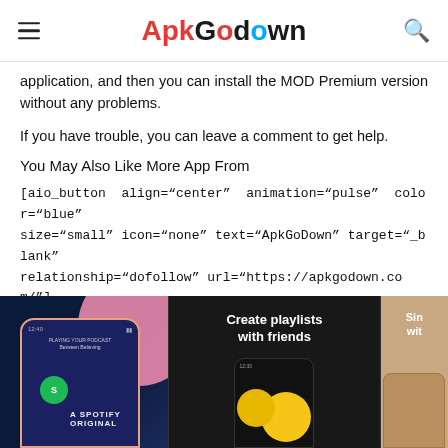ApkGodown
application, and then you can install the MOD Premium version without any problems.
If you have trouble, you can leave a comment to get help.
You May Also Like More App From
[aio_button align="center" animation="pulse" color="blue" size="small" icon="none" text="ApkGoDown" target="_blank" relationship="dofollow" url="https://apkgodown.com/"]
[Figure (screenshot): Spotify app screenshots showing phone mockups with 'Create playlists with friends' and other features on dark background]